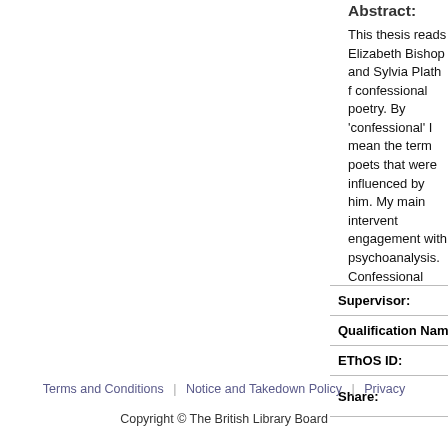Abstract:
This thesis reads Elizabeth Bishop and Sylvia Plath f... confessional poetry. By 'confessional' I mean the term... poets that were influenced by him. My main intervent... engagement with psychoanalysis. Confessional poet... of psychoanalytic interpretation. Instead they used p... diverges from or produces a critique of psychoanalys... most difficult yet influential figures in the relationship... suicidal, and Bishop develops a more problematic rel... maternal relation of the kind that Freud and Lacan's v... Bishop is not normally included under the term confe... ego, rather than centred on the 'I', her writing can be... difference is her use of secretive tactics very different... archconfessional Plath made the 'I' the centre of her p... parallels I draw between these two poets reveal the c... the literary scene.
| Field | Value |
| --- | --- |
| Supervisor: | Not available |
| Qualification Name: | Thesis (Ph.D.) |
| EThOS ID: | uk.bl.ethos.565947 |
| Share: |  |
Terms and Conditions  |  Notice and Takedown Policy  |  Privacy
Copyright © The British Library Board